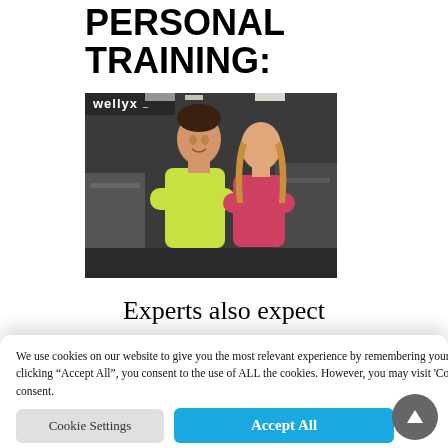PERSONAL TRAINING:
[Figure (photo): Two fitness trainers (a man in yellow shirt and a woman in pink top) standing with arms crossed in a gym. Wellyx logo visible in top-left corner.]
Experts also expect
We use cookies on our website to give you the most relevant experience by remembering your preferences and repeat visits. By clicking "Accept All", you consent to the use of ALL the cookies. However, you may visit 'Cookie Settings' to provide a controlled consent.
Cookie Settings   Accept All